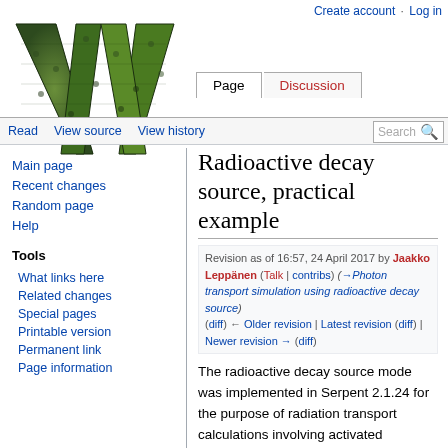Create account  Log in
[Figure (logo): Wikipedia logo - large green and black stylized W]
Page  Discussion  Read  View source  View history  Search
Radioactive decay source, practical example
Revision as of 16:57, 24 April 2017 by Jaakko Leppänen (Talk | contribs) (→Photon transport simulation using radioactive decay source) (diff) ← Older revision | Latest revision (diff) | Newer revision → (diff)
Main page
Recent changes
Random page
Help
Tools
What links here
Related changes
Special pages
Printable version
Permanent link
Page information
The radioactive decay source mode was implemented in Serpent 2.1.24 for the purpose of radiation transport calculations involving activated materials. The source term is determined by: